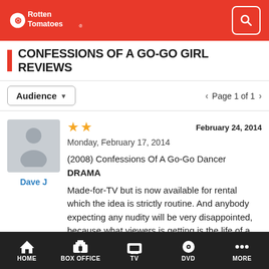Rotten Tomatoes
CONFESSIONS OF A GO-GO GIRL REVIEWS
Audience | Page 1 of 1
Dave J | ★★ | February 24, 2014 | Monday, February 17, 2014 | (2008) Confessions Of A Go-Go Dancer DRAMA | Made-for-TV but is now available for rental which the idea is strictly routine. And anybody expecting any nudity will be very disappointed, because what viewers is getting is the life of a 'go-go girl' who don't
HOME | BOX OFFICE | TV | DVD | MORE